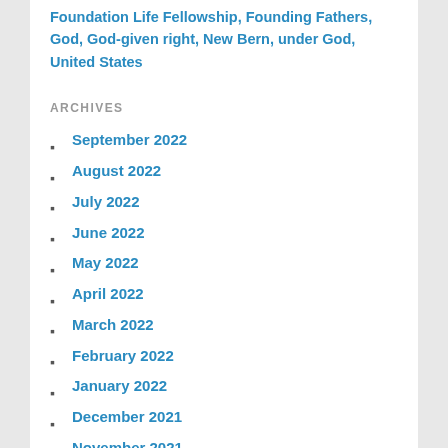Foundation Life Fellowship, Founding Fathers, God, God-given right, New Bern, under God, United States
ARCHIVES
September 2022
August 2022
July 2022
June 2022
May 2022
April 2022
March 2022
February 2022
January 2022
December 2021
November 2021
October 2021
September 2021
August 2021
July 2021
June 2021